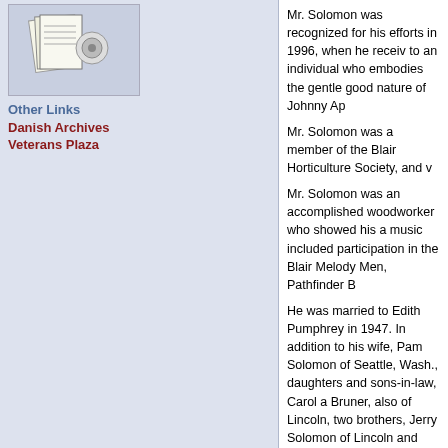[Figure (illustration): Small thumbnail images of documents or papers stacked, shown in the sidebar]
Other Links
Danish Archives
Veterans Plaza
Mr. Solomon was recognized for his efforts in 1996, when he received to an individual who embodies the gentle good nature of Johnny Ap
Mr. Solomon was a member of the Blair Horticulture Society, and w
Mr. Solomon was an accomplished woodworker who showed his a music included participation in the Blair Melody Men, Pathfinder B
He was married to Edith Pumphrey in 1947. In addition to his wife, Pam Solomon of Seattle, Wash., daughters and sons-in-law, Carol a Bruner, also of Lincoln, two brothers, Jerry Solomon of Lincoln and
In lieu of flowers, memorials are suggested to the Blair First United
~~~~~Obituary courtesy of the Washington County Genealogical S
FindaGrave memorial # 119092127
Source
Printed in the Washington County Enterprise on 9/21/2001
This obituary was added online on 3/15/2015
This obituary was last updated on 11/8/2019
[BACK]
A PACK RAT IS HARD
Copyright © 2008-2020 Wa Commercial use